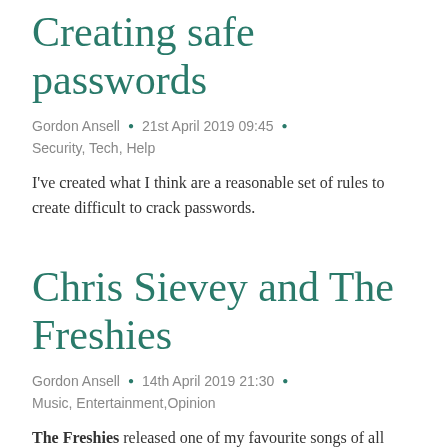Creating safe passwords
Gordon Ansell • 21st April 2019 09:45 • Security, Tech, Help
I've created what I think are a reasonable set of rules to create difficult to crack passwords.
Chris Sievey and The Freshies
Gordon Ansell • 14th April 2019 21:30 • Music, Entertainment, Opinion
The Freshies released one of my favourite songs of all time and I decided to have a Sunday ramble about them in this article.